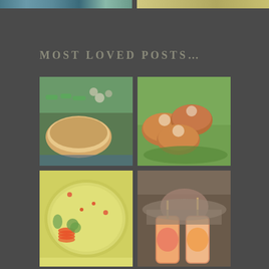[Figure (photo): Partial top strip showing two food photos from above]
MOST LOVED POSTS...
[Figure (photo): Baked or grilled fish/chicken dish on a blue plate with green beans and mushrooms]
[Figure (photo): Three round fried patties or crab cakes on green lettuce leaves]
[Figure (photo): Yellow/green cold soup gazpacho with radish slices and lime garnish with red oil drops]
[Figure (photo): Woman holding two colorful floral paper cups with popsicle sticks, containing orange and red frozen treats]